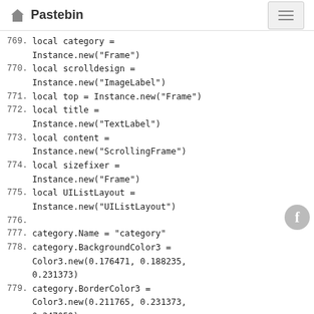Pastebin
769.     local category = Instance.new("Frame")
770.     local scrolldesign = Instance.new("ImageLabel")
771.     local top = Instance.new("Frame")
772.     local title = Instance.new("TextLabel")
773.     local content = Instance.new("ScrollingFrame")
774.     local sizefixer = Instance.new("Frame")
775.     local UIListLayout = Instance.new("UIListLayout")
776.
777.     category.Name = "category"
778.     category.BackgroundColor3 = Color3.new(0.176471, 0.188235, 0.231373)
779.     category.BorderColor3 = Color3.new(0.211765, 0.231373, 0.247059)
780.     category.Size = UDim2.new(0, 225, 0, info['lenght'])
781.